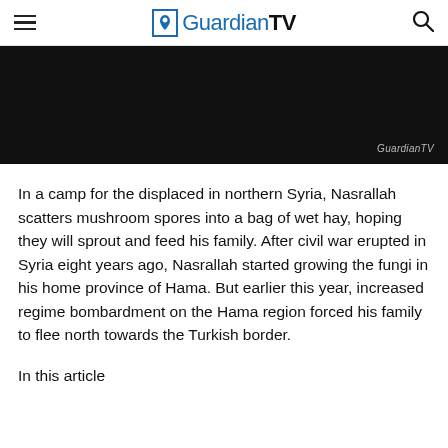GuardianTV
[Figure (photo): Dark/black video thumbnail with GuardianTV watermark in the bottom right corner]
In a camp for the displaced in northern Syria, Nasrallah scatters mushroom spores into a bag of wet hay, hoping they will sprout and feed his family. After civil war erupted in Syria eight years ago, Nasrallah started growing the fungi in his home province of Hama. But earlier this year, increased regime bombardment on the Hama region forced his family to flee north towards the Turkish border.
In this article